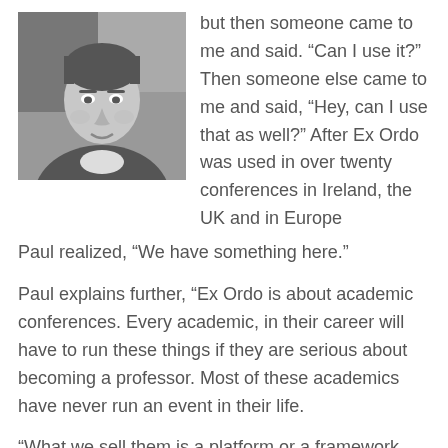[Figure (photo): Black and white portrait photo of a young man (Paul) wearing a dark top with white collar, looking slightly to the side]
but then someone came to me and said. “Can I use it?” Then someone else came to me and said, “Hey, can I use that as well?” After Ex Ordo was used in over twenty conferences in Ireland, the UK and in Europe Paul realized, “We have something here.”
Paul explains further, “Ex Ordo is about academic conferences. Every academic, in their career will have to run these things if they are serious about becoming a professor. Most of these academics have never run an event in their life.
“What we sell them is a platform or a framework within which they can design [their event] without having to